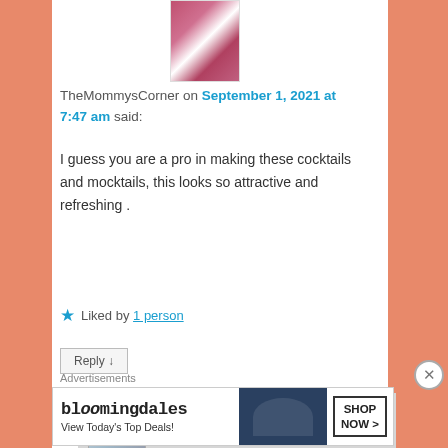[Figure (photo): Avatar photo of TheMommysCorner - woman in pink/maroon striped top]
TheMommysCorner on September 1, 2021 at 7:47 am said:
I guess you are a pro in making these cocktails and mocktails, this looks so attractive and refreshing .
★ Liked by 1 person
Reply ↓
[Figure (photo): Avatar photo of danielleridgway - woman holding child]
danielleridgway on September 2, 2021 at 12:57 pm said:
Advertisements
[Figure (other): Bloomingdales advertisement - View Today's Top Deals! SHOP NOW >]